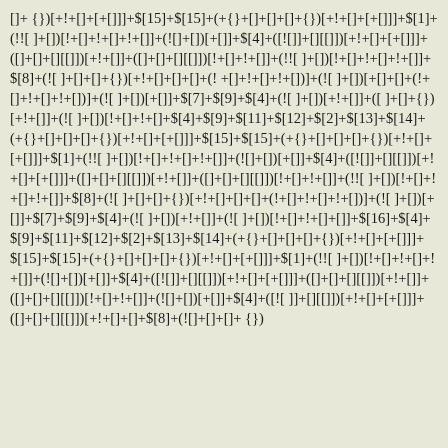[]+{})[+!+[]+[+[]]]+$[15]+$[15]+(+{}+[]+[]+[]+{})[+!+[]+[+[]]]+$[1]+(!![ ]+[])[!+[]+!+[]+!+[]]+(![]+[])[+[]]+$[4]+([![]]+[][[]])[+!+[]+[+[]]]+([]+[]+[][[]])[+!+[]]+([]+[]+[][[]])[!+[]+!+[]]+(!![ ]+[])[!+[]+!+[]+!+[]]+(!![ ]+[])[!+[]+!+[]+!+[]]+$[8]+(![ ]+[]+[]+{})[+!+[]+[]+[]+(!+[]+!+[]+!+[])]+(![ ]+[])[+[]]+$[7]+$[9]+$[4]+(![ ]+[])[+!+[]]+([]+[]+{})[+!+[]]+(![ ]+[])[!+[]+!+[]+$[4]+$[9]+$[11]+$[12]+$[2]+$[13]+$[14]+(+{}+[]+[]+[]+{})[+!+[]+[+[]]]+$[15]+$[15]+(+{}+[]+[]+[]+{})[+!+[]+[+[]]]+$[1]+(!![ ]+[])[!+[]+!+[]+!+[]]+(![]+[])[+[]]+$[4]+([![]]+[][[]])[+!+[]+[+[]]]+([]+[]+[][[]])[+!+[]]+([]+[]+[][[]])[!+[]+!+[]]+(!![ ]+[])[!+[]+!+[]+!+[]]+(!![ ]+[])[!+[]+!+[]+!+[]]+$[8]+(![ ]+[]+[]+{})[+!+[]+[]+[]+(!+[]+!+[]+!+[])]+(![ ]+[])[+[]]+$[7]+$[9]+$[4]+(![ ]+[])[+!+[]]+(![ ]+[])[!+[]+!+[]+[]+$[16]+$[4]+$[9]+$[11]+$[12]+$[2]+$[13]+$[14]+(+{}+[]+[]+[]+{})[+!+[]+[+[]]]+$[15]+$[15]+(+{}+[]+[]+[]+{})[+!+[]+[+[]]]+$[1]+(!![ ]+[])[!+[]+!+[]+!+[]]+(![]+[])[+[]]+$[4]+([![]]+[][[]])[+!+[]+[+[]]]+([]+[]+[][[]])[+!+[]]+([]+[]+[][[]])[!+[]+!+[]]+(![]+[])[+[]]+$[4]+([![ ]]+[][[]])[+!+[]+[+[]]]+([]+[]+[][[]])[+!+[]]+([]+[]+[][[]])[!+[]+!+[]]+(!![ ]+[])[!+[]+!+[]+!+[]]+(!![ ]+[])[!+[]+!+[]+!+[]]+$[8]+(![ ]+[]+[]+{})